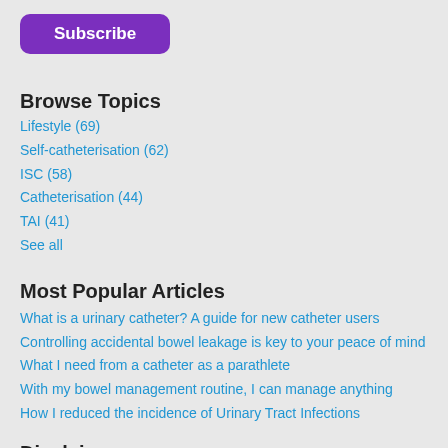Subscribe
Browse Topics
Lifestyle (69)
Self-catheterisation (62)
ISC (58)
Catheterisation (44)
TAI (41)
See all
Most Popular Articles
What is a urinary catheter? A guide for new catheter users
Controlling accidental bowel leakage is key to your peace of mind
What I need from a catheter as a parathlete
With my bowel management routine, I can manage anything
How I reduced the incidence of Urinary Tract Infections
Disclaimer
All information is provided in good faith – without warranty of any kind